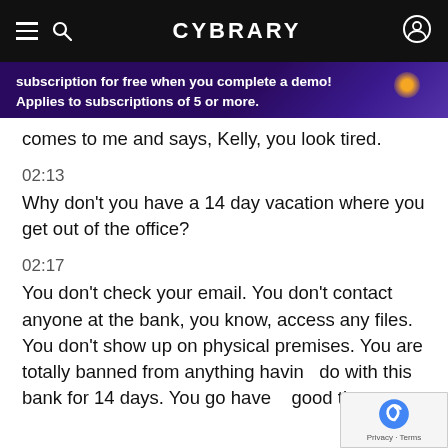CYBRARY
subscription for free when you complete a demo! Applies to subscriptions of 5 or more.
comes to me and says, Kelly, you look tired.
02:13
Why don't you have a 14 day vacation where you get out of the office?
02:17
You don't check your email. You don't contact anyone at the bank, you know, access any files. You don't show up on physical premises. You are totally banned from anything having do with this bank for 14 days. You go have good time.